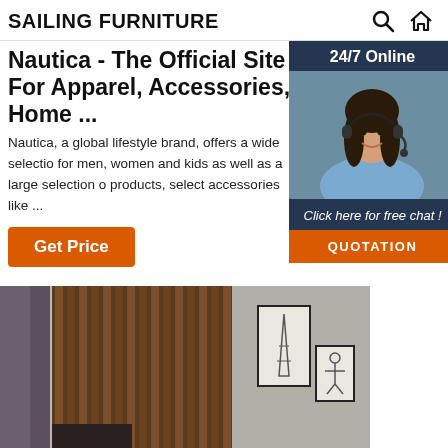SAILING FURNITURE
Nautica - The Official Site For Apparel, Accessories, Home ...
Nautica, a global lifestyle brand, offers a wide selection for men, women and kids as well as a large selection of products, select accessories like ...
[Figure (photo): Customer service representative with headset, 24/7 Online chat widget with QUOTATION button]
Get Price
[Figure (photo): Interior room photo with wooden slat wall panel, curtains, and framed pictures of Eiffel Tower and a figure on the wall]